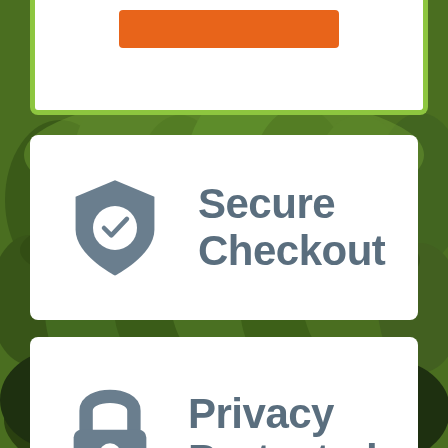[Figure (illustration): Forest background with green trees]
[Figure (illustration): Orange button on white card with green border at top]
[Figure (illustration): White card with shield/checkmark icon and text Secure Checkout]
[Figure (illustration): White card with padlock icon and text Privacy Protected]